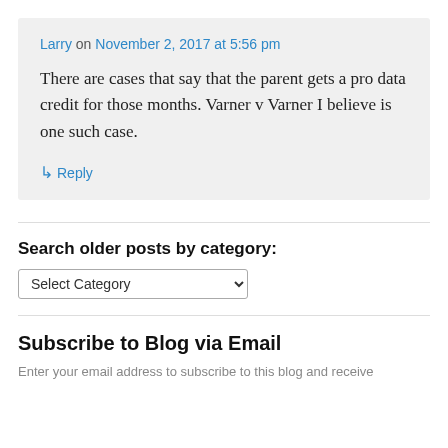Larry on November 2, 2017 at 5:56 pm
There are cases that say that the parent gets a pro data credit for those months. Varner v Varner I believe is one such case.
↳ Reply
Search older posts by category:
Select Category
Subscribe to Blog via Email
Enter your email address to subscribe to this blog and receive